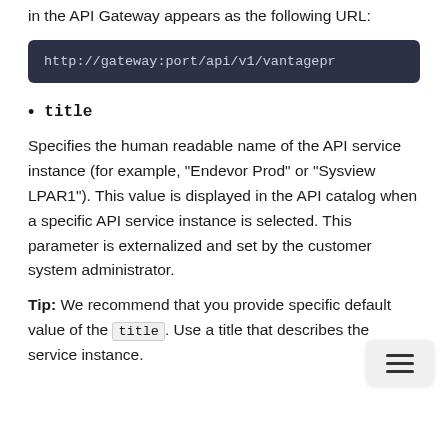in the API Gateway appears as the following URL:
http://gateway:port/api/v1/vantagepr
title
Specifies the human readable name of the API service instance (for example, "Endevor Prod" or "Sysview LPAR1"). This value is displayed in the API catalog when a specific API service instance is selected. This parameter is externalized and set by the customer system administrator.
Tip: We recommend that you provide specific default value of the title. Use a title that describes the service instance.